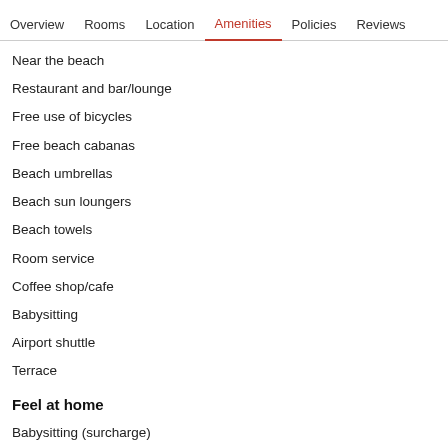Overview  Rooms  Location  Amenities  Policies  Reviews
Near the beach
Restaurant and bar/lounge
Free use of bicycles
Free beach cabanas
Beach umbrellas
Beach sun loungers
Beach towels
Room service
Coffee shop/cafe
Babysitting
Airport shuttle
Terrace
Feel at home
Babysitting (surcharge)
Private bathroom